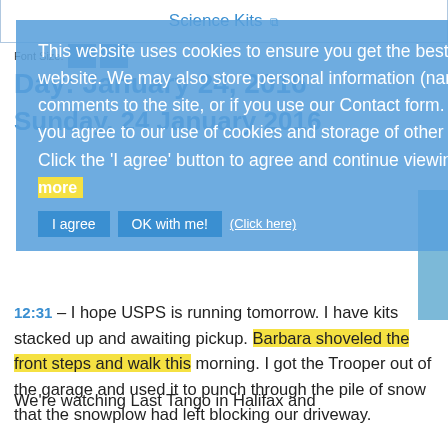Science Kits
Font Size:
Day: January 24, 2016
Sunday, 24 January 2016
This website uses cookies to ensure you get the best experience on our website. We may also store personal information (name, email) if you can comments to the site, or if you use our Contact form. By browsing our site, you agree to our use of cookies and storage of other personal information. Click the 'I agree' button to agree and continue viewing our site.
Learn more
I agree OK with me! (Click here)
12:31 – I hope USPS is running tomorrow. I have kits stacked up and awaiting pickup. Barbara shoveled the front steps and walk this morning. I got the Trooper out of the garage and used it to punch through the pile of snow that the snowplow had left blocking our driveway.
We're watching Last Tango in Halifax and